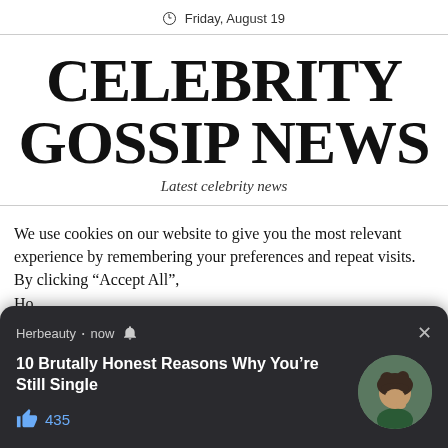Friday, August 19
CELEBRITY GOSSIP NEWS
Latest celebrity news
We use cookies on our website to give you the most relevant experience by remembering your preferences and repeat visits. By clicking “Accept All”, Ho... pr...
[Figure (screenshot): A dark notification popup from Herbeauty showing '10 Brutally Honest Reasons Why You’re Still Single' with a thumbs up icon, 435 likes, a circular avatar of a young woman, and a close (x) button.]